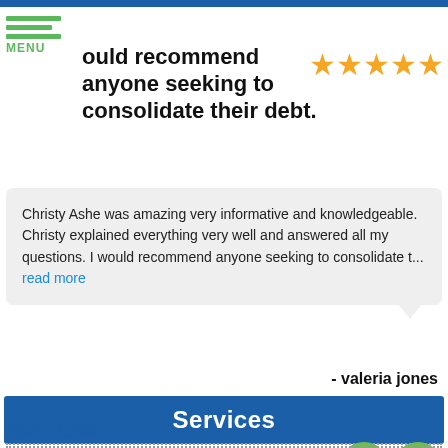MENU
ould recommend anyone seeking to consolidate their debt.
[Figure (other): Five gold star rating icons]
Christy Ashe was amazing very informative and knowledgeable. Christy explained everything very well and answered all my questions. I would recommend anyone seeking to consolidate t... read more
- valeria jones
Services
Debt Relief
Debt Settlement